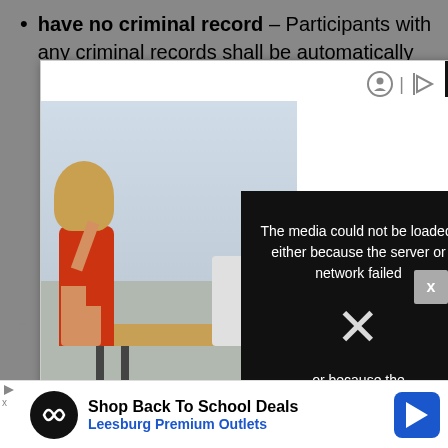have no criminal record – Participants with any criminal records shall be automatically
[Figure (screenshot): Ad modal overlay showing a woman in an office setting seated at a desk in a red dress, with a video player error message reading 'The media could not be loaded, either because the server or network failed or because the format is not supported.' A close X button is in the top-right. A 'Sponsored' label is on the image.]
king
[Figure (screenshot): Bottom banner advertisement: 'Shop Back To School Deals - Leesburg Premium Outlets' with circular logo and navigation arrow icon]